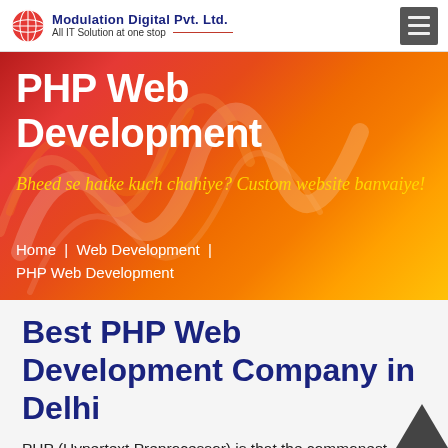Modulation Digital Pvt. Ltd. All IT Solution at one stop
[Figure (infographic): Hero banner with red-to-yellow gradient background and decorative smoke/swirl patterns]
PHP Web Development
Bheed se hatke kuch chahiye? Custom website banvaiye!
Home | Web Development | PHP Web Development
Best PHP Web Development Company in Delhi
PHP (Hypertext Preprocessor) is that the commonest platform that's want to develop websites and PHP may be a server-sid